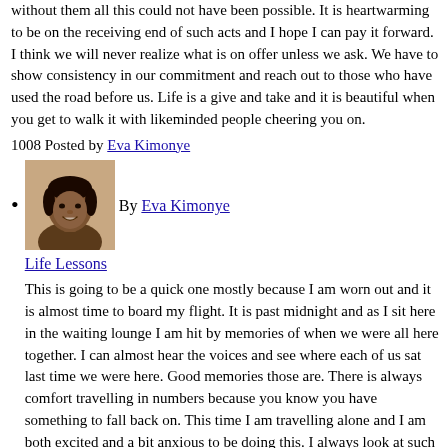without them all this could not have been possible. It is heartwarming to be on the receiving end of such acts and I hope I can pay it forward. I think we will never realize what is on offer unless we ask. We have to show consistency in our commitment and reach out to those who have used the road before us. Life is a give and take and it is beautiful when you get to walk it with likeminded people cheering you on.
1008 Posted by Eva Kimonye
[Figure (photo): Portrait photo of Eva Kimonye, a woman smiling]
By Eva Kimonye Life Lessons This is going to be a quick one mostly because I am worn out and it is almost time to board my flight. It is past midnight and as I sit here in the waiting lounge I am hit by memories of when we were all here together. I can almost hear the voices and see where each of us sat last time we were here. Good memories those are. There is always comfort travelling in numbers because you know you have something to fall back on. This time I am travelling alone and I am both excited and a bit anxious to be doing this. I always look at such trips as a challenge to get out of my social shell and expand my networks and build on my communication skills and explore. That said this trip has